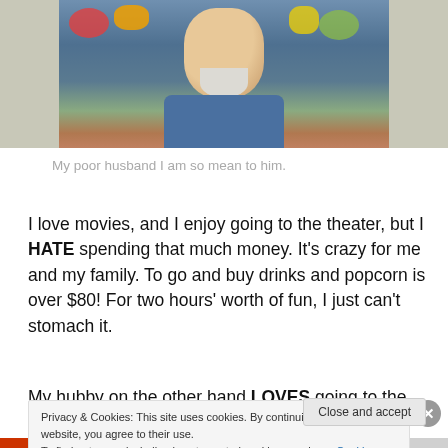[Figure (photo): Photo of an older man with a white/gray beard, wearing a blue shirt, in a market or shop setting with colorful items in the background.]
My poor husband I am so mean to him.
I love movies, and I enjoy going to the theater, but I HATE spending that much money. It's crazy for me and my family. To go and buy drinks and popcorn is over $80! For two hours' worth of fun, I just can't stomach it.
My hubby on the other hand LOVES going to the movies
Privacy & Cookies: This site uses cookies. By continuing to use this website, you agree to their use.
To find out more, including how to control cookies, see here: Cookie Policy
Close and accept